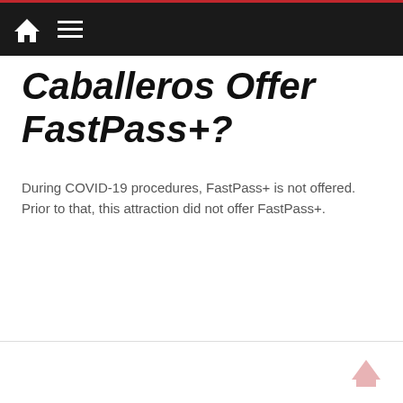Navigation bar with home icon and menu icon
Caballeros Offer FastPass+?
During COVID-19 procedures, FastPass+ is not offered. Prior to that, this attraction did not offer FastPass+.